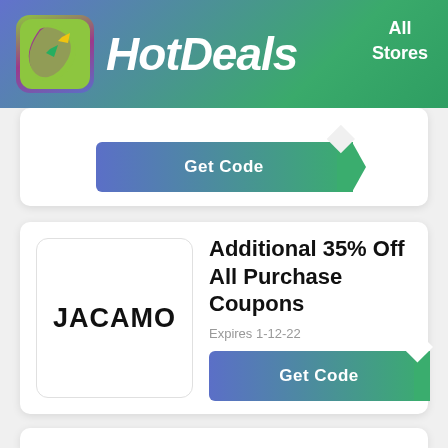HotDeals | All Stores
[Figure (screenshot): Partial coupon card with Get Code button]
[Figure (logo): Jacamo brand logo - black text on white rounded square]
Additional 35% Off All Purchase Coupons
Expires 1-12-22
Get Code
[Figure (screenshot): Bottom partial coupon card]